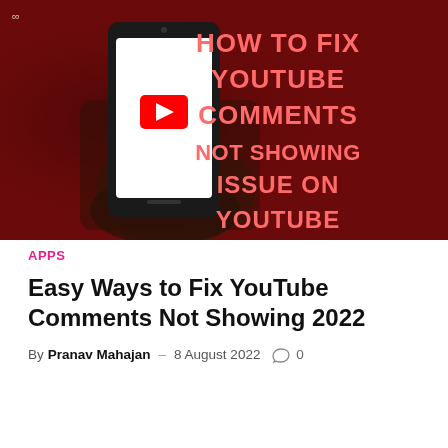[Figure (photo): Hand holding a smartphone displaying the YouTube logo (red play button on white screen), set against a dark red background. On the right side, pink/red neon-style text reads: HOW TO FIX YOUTUBE COMMENTS NOT SHOWING ISSUE ON YOUTUBE]
APPS
Easy Ways to Fix YouTube Comments Not Showing 2022
By Pranav Mahajan – 8 August 2022  0